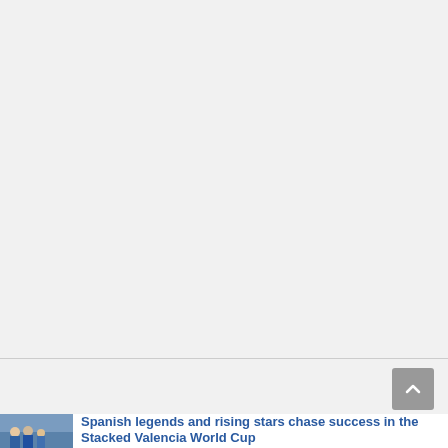[Figure (other): Large blank/whitespace area at top of page, light gray background representing empty content area of a webpage]
[Figure (other): Small scroll-to-top button, gray rounded square with upward chevron arrow, positioned in lower right area]
[Figure (photo): Small thumbnail photo showing a group of people, partially visible at bottom-left corner of page]
Spanish legends and rising stars chase success in the Stacked Valencia World Cup